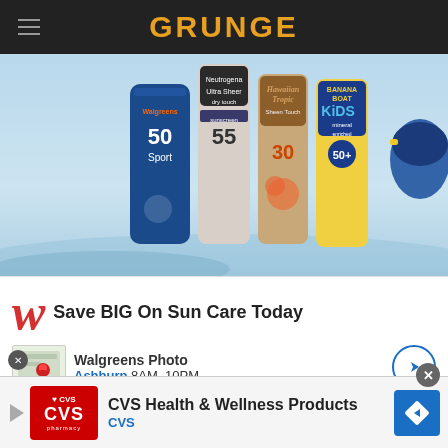GRUNGE
[Figure (photo): Advertisement showing sunscreen product bottles: Walgreens 50 Sport, Neutrogena Ultra Sheer Dry Touch 55, Hawaiian Tropic Sheen Touch 30, and Banana Boat Kids Mineral 50, set against a light blue background.]
Save BIG On Sun Care Today
Walgreens Photo
Ashburn 8AM–10PM
BETTE DAVIS WAS AS EXPLOSIVE AS SHE WAS OBSESSIVE
[Figure (screenshot): Bottom advertisement banner for CVS Health & Wellness Products with CVS pharmacy logo and navigation arrow button.]
CVS Health & Wellness Products
CVS